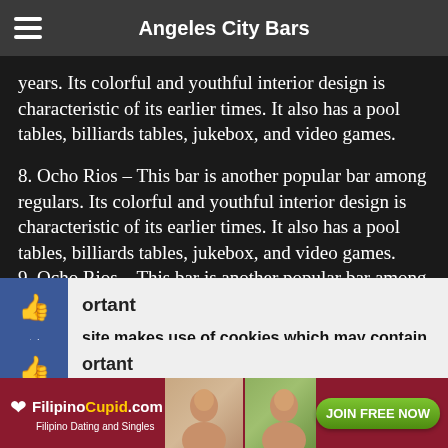Angeles City Bars
years. Its colorful and youthful interior design is characteristic of its earlier times. It also has a pool tables, billiards tables, jukebox, and video games.
8. Ocho Rios – This bar is another popular bar among regulars. Its colorful and youthful interior design is characteristic of its earlier times. It also has a pool tables, billiards tables, jukebox, and video games.
9. Ocho Rios – This bar is another popular bar among
Important
This site makes use of cookies which may contain tracking information about visitors. By continuing to browse this site you agree to our use of cookies.
[Figure (screenshot): FilipinoCupid.com advertisement banner with photos of women and JOIN FREE NOW button]